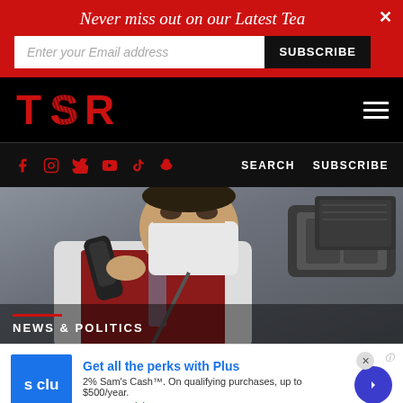Never miss out on our Latest Tea
Enter your Email address
SUBSCRIBE
[Figure (logo): TSR logo in red on black background]
[Figure (photo): Flight attendant or airline worker wearing a face mask and red vest, speaking into a phone handset on an airplane]
NEWS & POLITICS
Get all the perks with Plus
2% Sam's Cash™. On qualifying purchases, up to $500/year.
www.samsclub.com